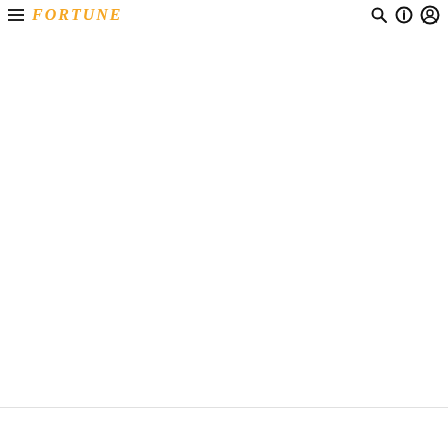FORTUNE (navigation header with hamburger menu, Fortune logo, search, info, and user icons)